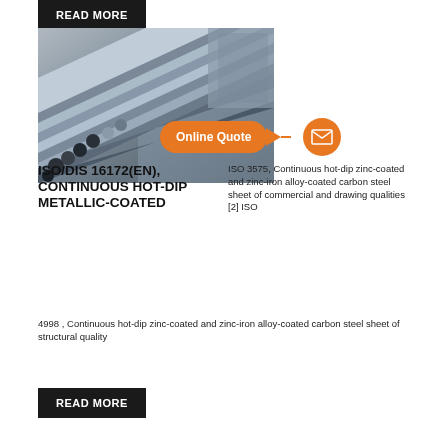READ MORE
[Figure (photo): Steel bars/rods stacked together viewed from the end, metallic gray, industrial setting]
Online Quote
ISO/DIS 16172(EN), CONTINUOUS HOT-DIP METALLIC-COATED
ISO 3575, Continuous hot-dip zinc-coated and zinc-iron alloy-coated carbon steel sheet of commercial and drawing qualities [2] ISO 4998 , Continuous hot-dip zinc-coated and zinc-iron alloy-coated carbon steel sheet of structural quality
READ MORE